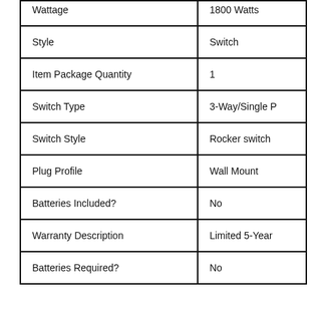| Property | Value |
| --- | --- |
| Wattage | 1800  Watts |
| Style | Switch |
| Item Package Quantity | 1 |
| Switch Type | 3-Way/Single P |
| Switch Style | Rocker switch |
| Plug Profile | Wall Mount |
| Batteries Included? | No |
| Warranty Description | Limited 5-Year |
| Batteries Required? | No |